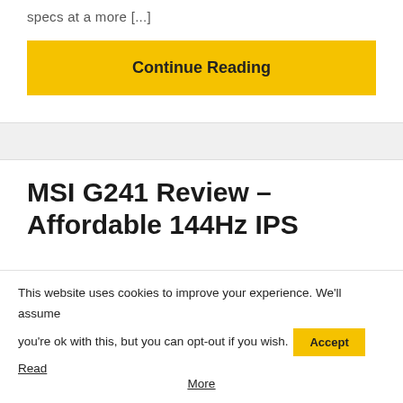specs at a more [...]
Continue Reading
MSI G241 Review – Affordable 144Hz IPS
This website uses cookies to improve your experience. We'll assume you're ok with this, but you can opt-out if you wish. Accept Read More